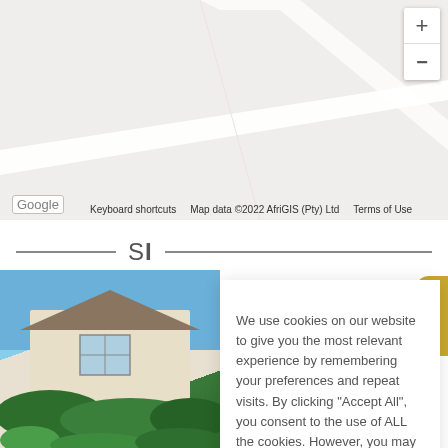[Figure (screenshot): Google Maps view showing a road/area map with zoom controls (+/-) on the right side. Map footer shows Google logo, 'Keyboard shortcuts', 'Map data ©2022 AfriGIS (Pty) Ltd', and 'Terms of Use'.]
Keyboard shortcuts    Map data ©2022 AfriGIS (Pty) Ltd    Terms of Use
[Figure (photo): Photo of a white/cream building with thatched or tiled roof, large windows, surrounded by green hedges and trees against a blue sky.]
We use cookies on our website to give you the most relevant experience by remembering your preferences and repeat visits. By clicking "Accept All", you consent to the use of ALL the cookies. However, you may visit "Cookie Settings" to provide a controlled consent.
Cookie Settings
Accept All